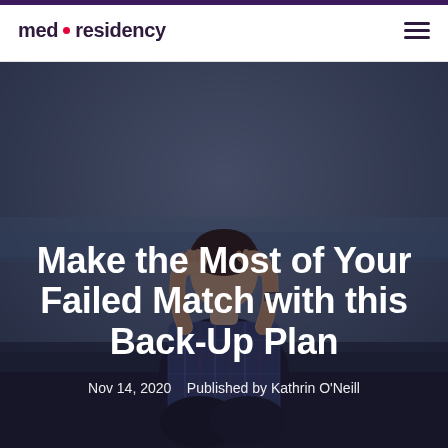med · residency
[Figure (photo): Person sitting outdoors with hands on head in distress, dark blurred background, serves as hero image for article about failed residency match]
Make the Most of Your Failed Match with this Back-Up Plan
Nov 14, 2020   Published by Kathrin O'Neill